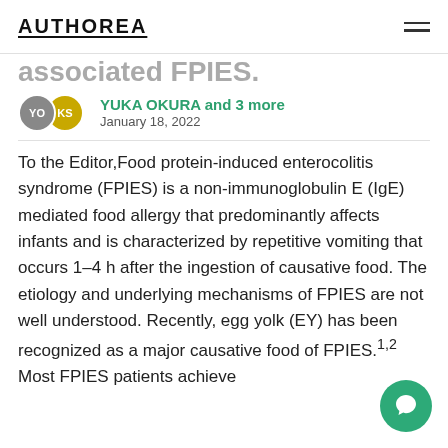AUTHOREA
associated FPIES.
YUKA OKURA and 3 more
January 18, 2022
To the Editor,Food protein-induced enterocolitis syndrome (FPIES) is a non-immunoglobulin E (IgE) mediated food allergy that predominantly affects infants and is characterized by repetitive vomiting that occurs 1–4 h after the ingestion of causative food. The etiology and underlying mechanisms of FPIES are not well understood. Recently, egg yolk (EY) has been recognized as a major causative food of FPIES.1,2 Most FPIES patients achieve